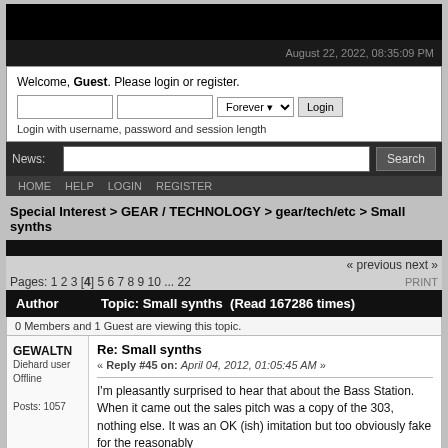August 22, 2022, 08:35:09 PM
Welcome, Guest. Please login or register.
Login with username, password and session length
News:
Search
HOME  HELP  LOGIN  REGISTER
Special Interest > GEAR / TECHNOLOGY > gear/tech/etc > Small synths
« previous next »
Pages: 1 2 3 [4] 5 6 7 8 9 10 ... 22
PRINT
| Author | Topic: Small synths  (Read 167286 times) |
| --- | --- |
| 0 Members and 1 Guest are viewing this topic. |  |
GEWALTN
Diehard user
Offline
Posts: 1057
Re: Small synths
« Reply #45 on: April 04, 2012, 01:05:45 AM »
I'm pleasantly surprised to hear that about the Bass Station. When it came out the sales pitch was a copy of the 303, nothing else. It was an OK (ish) imitation but too obviously fake for the reasonably